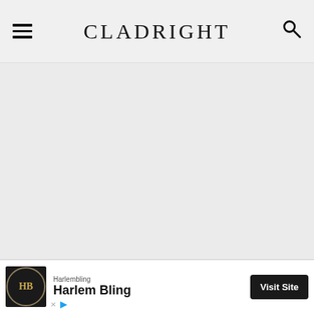CLADRIGHT
[Figure (screenshot): Large gray empty content area below the navigation header]
[Figure (infographic): Advertisement banner for Harlem Bling with logo, brand name, and Visit Site button]